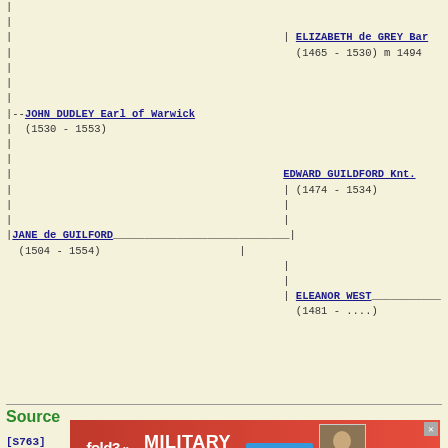[Figure (other): Genealogy/family tree diagram showing ancestors: ELIZABETH de GREY Bar. (1465-1530) m 1494, JOHN DUDLEY Earl of Warwick (1530-1553), EDWARD GUILDFORD Knt. (1474-1534), JANE de GUILFORD (1504-1554), ELEANOR WEST (1481-....)]
Sources
[S763]
[Figure (infographic): fold3 by Ancestry advertisement banner for Military Records with Search Now button and a vintage photo]